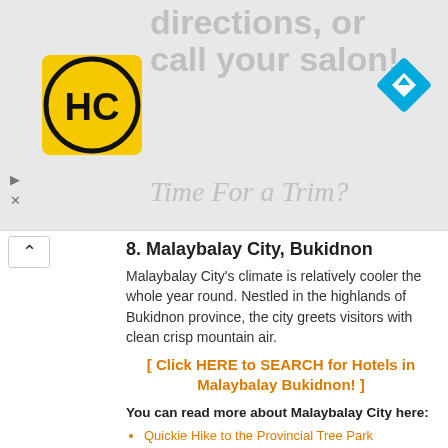[Figure (screenshot): Advertisement banner with HC salon logo, navigation arrow icon, and partial text 'directions, or call your salon!' and 'Time For a Trim?']
8. Malaybalay City, Bukidnon
Malaybalay City's climate is relatively cooler the whole year round. Nestled in the highlands of Bukidnon province, the city greets visitors with clean crisp mountain air.
[ Click HERE to SEARCH for Hotels in Malaybalay Bukidnon! ]
You can read more about Malaybalay City here:
Quickie Hike to the Provincial Tree Park
Kaamulan Festival 2013, "A Celebration of Bukidnon's Rich